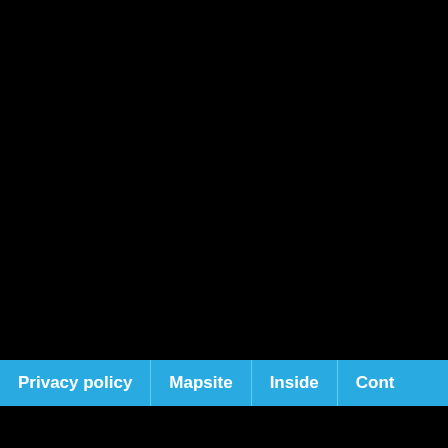Privacy policy | Mapsite | Inside | Cont
| Antennas 11m 27 MHz | Click |
| --- | --- |
| 2 or 3 elements yagi 27 mhz | 15931 |
| 3 element yagi for 11meter, I1WQR | 4633 |
| A 2 Element Cubical Quad for the 10/11 Meter Band | 231 |
| 4 Elements LFA Yagi 27 mhz | 2577 |
| 11 Meter CB Radio J-Pole Antenna | 2698 |
| A 11 Meter Helical antenna | 2613 |
| Antena dipolo para 11 metros | 14084 |
| Antenna HB9CV27 | 3884 |
| Antenna Tuning Unit (ATU) For 27-MHz CB Radios | 7272 |
| Antenna doppia zeppelin modificata per 11mt | 11806 |
| Antenna EH autocostruita per i 27 Mhz | 3092 |
| Antenna super quad 11mt | 16123 |
| Antenna Delta Loop a 2 elementi 11mt | 16270 |
| A Stealthy Homebrew Vertical Dipole Antenna | 277 |